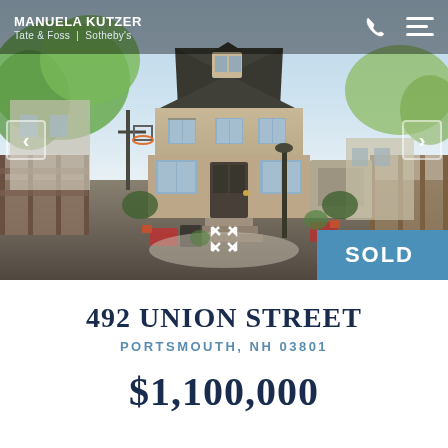[Figure (photo): Exterior photo of a two-story colonial-style house with tan/gray siding, dark roof, front steps, patio with outdoor furniture, basketball hoop in background, trees with spring foliage, navigation arrows on left and right, SOLD badge on bottom right, header with agent name and brokerage logo at top]
492 UNION STREET
PORTSMOUTH, NH 03801
$1,100,000